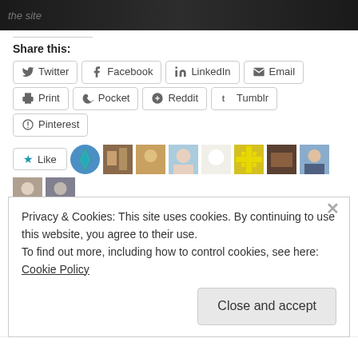[Figure (photo): Dark/black background image with faint text at top]
Share this:
Twitter  Facebook  LinkedIn  Email  Print  Pocket  Reddit  Tumblr  Pinterest (share buttons)
[Figure (infographic): Like button and blogger avatars row]
21 bloggers like this.
Related
Privacy & Cookies: This site uses cookies. By continuing to use this website, you agree to their use.
To find out more, including how to control cookies, see here: Cookie Policy
Close and accept